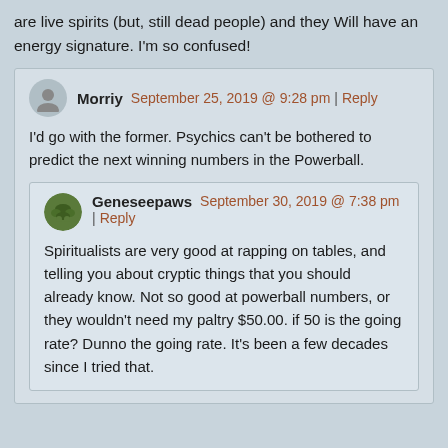are live spirits (but, still dead people) and they Will have an energy signature. I'm so confused!
Morriy   September 25, 2019 @ 9:28 pm | Reply
I'd go with the former. Psychics can't be bothered to predict the next winning numbers in the Powerball.
Geneseepaws   September 30, 2019 @ 7:38 pm | Reply
Spiritualists are very good at rapping on tables, and telling you about cryptic things that you should already know. Not so good at powerball numbers, or they wouldn't need my paltry $50.00. if 50 is the going rate? Dunno the going rate. It's been a few decades since I tried that.